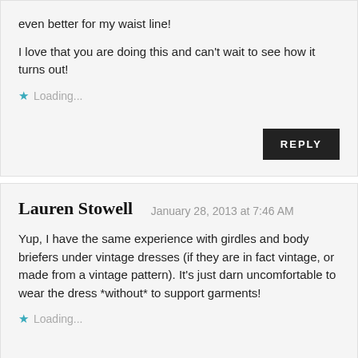even better for my waist line!
I love that you are doing this and can't wait to see how it turns out!
Loading...
REPLY
Lauren Stowell
January 28, 2013 at 7:46 AM
Yup, I have the same experience with girdles and body briefers under vintage dresses (if they are in fact vintage, or made from a vintage pattern). It's just darn uncomfortable to wear the dress *without* to support garments!
Loading...